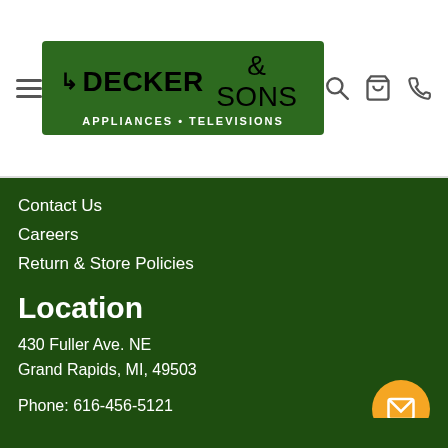Decker & Sons Appliances • Televisions — navigation header with hamburger menu, logo, search, cart, phone icons
Contact Us
Careers
Return & Store Policies
Location
430 Fuller Ave. NE
Grand Rapids, MI, 49503
Phone: 616-456-5121
Email: decker@deckersons.com
Hours